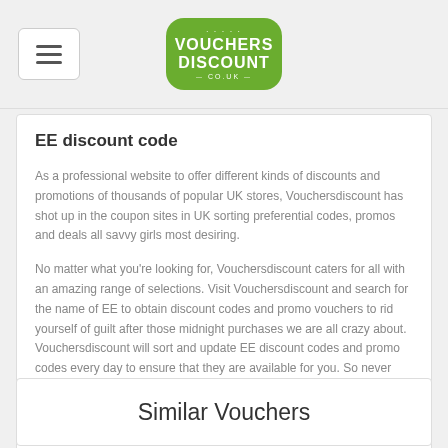VOUCHERS DISCOUNT CO.UK
EE discount code
As a professional website to offer different kinds of discounts and promotions of thousands of popular UK stores, Vouchersdiscount has shot up in the coupon sites in UK sorting preferential codes, promos and deals all savvy girls most desiring.
No matter what you're looking for, Vouchersdiscount caters for all with an amazing range of selections. Visit Vouchersdiscount and search for the name of EE to obtain discount codes and promo vouchers to rid yourself of guilt after those midnight purchases we are all crazy about. Vouchersdiscount will sort and update EE discount codes and promo codes every day to ensure that they are available for you. So never miss the now or never chances to get your hands on real bargains and special offers.
Similar Vouchers